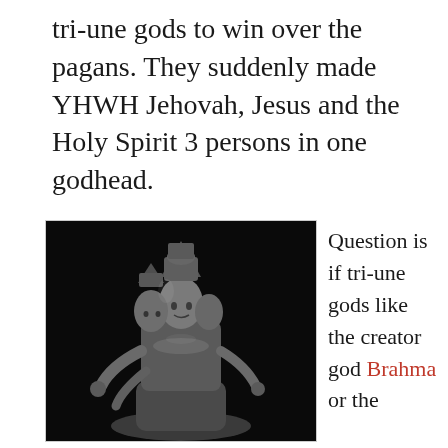tri-une gods to win over the pagans. They suddenly made YHWH Jehovah, Jesus and the Holy Spirit 3 persons in one godhead.
[Figure (photo): Black and white photograph of a Hindu tri-headed statue (likely Brahma or Trimurti), an ornate stone/marble sculpture with multiple arms and elaborate crown, seated pose.]
Question is if tri-une gods like the creator god Brahma or the